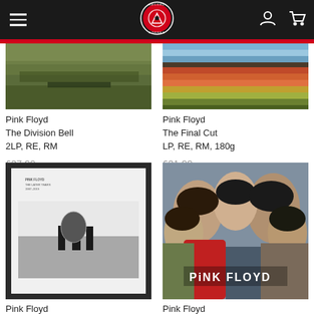Record Corner - navigation header with logo, hamburger menu, user icon, and cart icon
[Figure (photo): Pink Floyd The Division Bell album art - aerial crowd shot]
Pink Floyd
The Division Bell
2LP, RE, RM

£27.99
[Figure (photo): Pink Floyd The Final Cut album art - horizontal colored stripes]
Pink Floyd
The Final Cut
LP, RE, RM, 180g

£21.99
[Figure (photo): Pink Floyd The Later Years 1987-2019 box set album art - black and white three figures on landscape]
Pink Floyd
[Figure (photo): Pink Floyd Piper at the Gates of Dawn album art - band group photo with PINK FLOYD text]
Pink Floyd